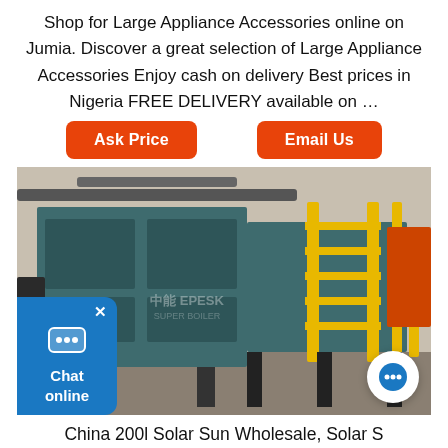Shop for Large Appliance Accessories online on Jumia. Discover a great selection of Large Appliance Accessories Enjoy cash on delivery Best prices in Nigeria FREE DELIVERY available on …
[Figure (other): Two orange buttons labeled 'Ask Price' and 'Email Us']
[Figure (photo): Industrial boiler machinery with yellow metal staircases/railings and teal-colored large equipment in a factory setting. A chat widget overlay is visible in the lower-left corner.]
China 200l Solar Sun Wholesale, Solar S Suppliers - …